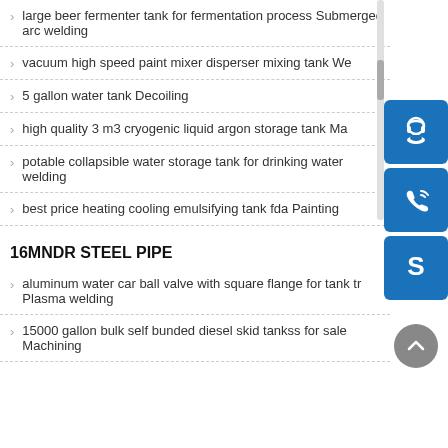large beer fermenter tank for fermentation process Submerged arc welding
vacuum high speed paint mixer disperser mixing tank We...
5 gallon water tank Decoiling
high quality 3 m3 cryogenic liquid argon storage tank Ma...
potable collapsible water storage tank for drinking water... welding
best price heating cooling emulsifying tank fda Painting
[Figure (infographic): Three blue icon buttons on right side: headset/support icon, phone/call icon, Skype icon]
16MNDR STEEL PIPE
aluminum water car ball valve with square flange for tank tr Plasma welding
15000 gallon bulk self bunded diesel skid tankss for sale Machining...